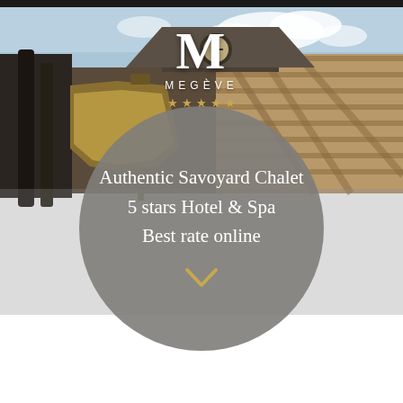[Figure (photo): Exterior of a Savoyard chalet style hotel building with wooden facade, decorative lantern, and cloudy sky. The M Megève 5-star hotel logo with gold stars is overlaid on the photo.]
Authentic Savoyard Chalet
5 stars Hotel & Spa
Best rate online